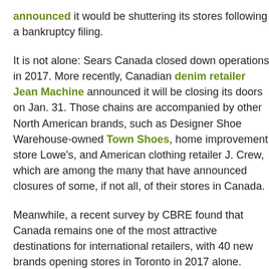announced it would be shuttering its stores following a bankruptcy filing.
It is not alone: Sears Canada closed down operations in 2017. More recently, Canadian denim retailer Jean Machine announced it will be closing its doors on Jan. 31. Those chains are accompanied by other North American brands, such as Designer Shoe Warehouse-owned Town Shoes, home improvement store Lowe's, and American clothing retailer J. Crew, which are among the many that have announced closures of some, if not all, of their stores in Canada.
Meanwhile, a recent survey by CBRE found that Canada remains one of the most attractive destinations for international retailers, with 40 new brands opening stores in Toronto in 2017 alone.
“We have retailers that are closing in Canada and not because Canadians aren’t aware of them but because the experience, the merchandising and the value are now competitive territories under threat,” noted Sarah Thompson, Mindshare chief strategy officer, in a release accompanying her agency’s report. “Canadians are on a